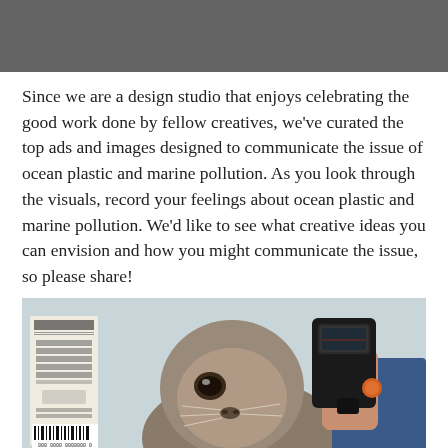[Figure (photo): Dark grey header bar at the top of the page]
Since we are a design studio that enjoys celebrating the good work done by fellow creatives, we've curated the top ads and images designed to communicate the issue of ocean plastic and marine pollution. As you look through the visuals, record your feelings about ocean plastic and marine pollution. We'd like to see what creative ideas you can envision and how you might communicate the issue, so please share!
[Figure (photo): Photo showing a seal being scanned with a barcode scanner by a human hand (wearing blue shirt), with a small product tag/label visible on the left side of the image. The seal appears to be resting on a grey surface.]